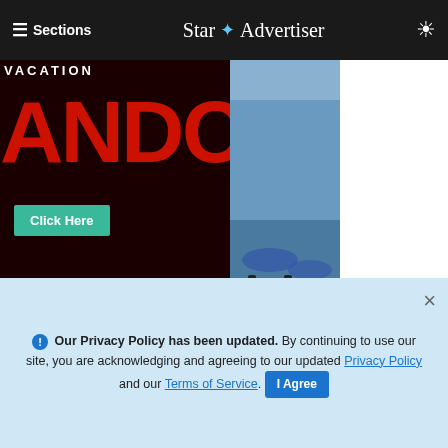≡ Sections  Star ✦ Advertiser
[Figure (screenshot): Banner advertisement image showing VACATION text and ANDB large red letters with a 'Click Here' teal button on the left, and a banquet hall photo on the right]
[Figure (advertisement): Magenta/pink ad banner reading 'Highly viewable, lightweight video tailored to your site' with a blue card graphic and geometric lines]
ADVERTISEMENT
ⓘ Our Privacy Policy has been updated. By continuing to use our site, you are acknowledging and agreeing to our updated Privacy Policy and our Terms of Service. I Agree